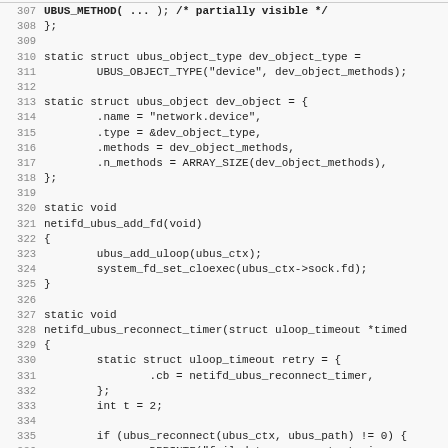[Figure (screenshot): Source code listing in a monospace font showing C code for ubus object type and ubus reconnect timer functions, lines 307-339.]